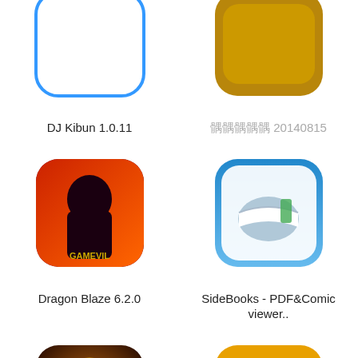[Figure (screenshot): DJ Kibun app icon - blue rounded rectangle outline on white background]
DJ Kibun 1.0.11
[Figure (screenshot): App icon with gray placeholder text and orange/brown background]
彩虹糖 20140815
[Figure (screenshot): Dragon Blaze 6.2.0 - GameVil game icon with anime female character on red background]
Dragon Blaze 6.2.0
[Figure (screenshot): SideBooks - PDF&Comic viewer app icon with open book on blue/white background]
SideBooks - PDF&Comic viewer..
[Figure (screenshot): Ultimate Slots: 2019 Vegas - slot machine app icon showing GRAND 10,000,000 FREE COINS]
Ultimate Slots: 2019 Vegas...
[Figure (screenshot): qlist 1.0 - orange app icon with document/list symbol]
qlist 1.0
[Figure (screenshot): Township 6.6.0 - farming game icon with red tractor on colorful farm background]
Township 6.6.0
[Figure (screenshot): App icon with cartoon characters - two bald men, one carrying the other, light blue background]
彩虹貓貓貓貓貓貓貓貓貓貓貓 1.0.0